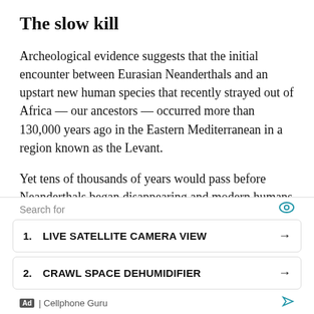The slow kill
Archeological evidence suggests that the initial encounter between Eurasian Neanderthals and an upstart new human species that recently strayed out of Africa — our ancestors — occurred more than 130,000 years ago in the Eastern Mediterranean in a region known as the Levant.
Yet tens of thousands of years would pass before Neanderthals began disappearing and modern humans expanded beyond the Levant. Why did it take so long?
Employing mathematical models of disease
Search for
1.  LIVE SATELLITE CAMERA VIEW  →
2.  CRAWL SPACE DEHUMIDIFIER  →
Ad | Cellphone Guru